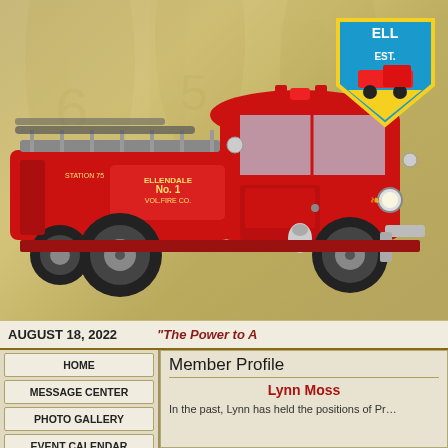[Figure (photo): Red vintage Ellendale No. 1 Vol. Fire Co. fire truck on a golden/tan decorative background with large firefighter statue silhouettes. A fire department badge/emblem is visible in the top right corner with 'ELL...' and 'EST.' text.]
AUGUST 18, 2022
“The Power to A…”
HOME
MESSAGE CENTER
PHOTO GALLERY
EVENT CALENDAR
Member Profile
Lynn Moss
In the past, Lynn has held the positions of Pr…